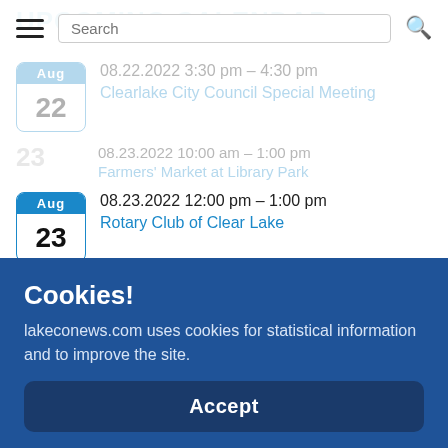UPCOMING CALENDAR
Search bar with hamburger menu
08.22.2022 3:30 pm – 4:30 pm | Clearlake City Council Special Meeting (faded/partial)
08.23.2022 10:00 am – 1:00 pm | Farmers' Market at Library Park (partial)
08.23.2022 12:00 pm – 1:00 pm | Rotary Club of Clear Lake
08.25.2022 7:30 am – 8:30 am | Rotary Club of Middletown
08.27.2022 8:00 am – 2:00 pm | Move Lake County! (partial)
Cookies!
lakeconews.com uses cookies for statistical information and to improve the site.
Accept